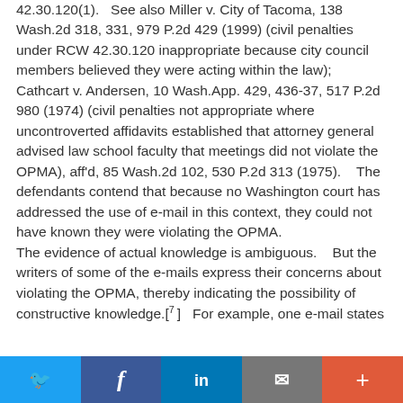42.30.120(1).   See also Miller v. City of Tacoma, 138 Wash.2d 318, 331, 979 P.2d 429 (1999) (civil penalties under RCW 42.30.120 inappropriate because city council members believed they were acting within the law);  Cathcart v. Andersen, 10 Wash.App. 429, 436-37, 517 P.2d 980 (1974) (civil penalties not appropriate where uncontroverted affidavits established that attorney general advised law school faculty that meetings did not violate the OPMA), aff'd, 85 Wash.2d 102, 530 P.2d 313 (1975).    The defendants contend that because no Washington court has addressed the use of e-mail in this context, they could not have known they were violating the OPMA.
The evidence of actual knowledge is ambiguous.    But the writers of some of the e-mails express their concerns about violating the OPMA, thereby indicating the possibility of constructive knowledge.[7]   For example, one e-mail states
Twitter | Facebook | LinkedIn | Email | +